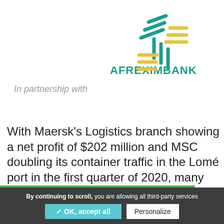[Figure (logo): Afreximbank logo with teal and yellow geometric cross/arrow symbol and AFREXIMBANK wordmark in teal capital letters]
In partnership with
With Maersk's Logistics branch showing a net profit of $202 million and MSC doubling its container traffic in the Lomé port in the first quarter of 2020, many logistics companies showed how to maintain margins
By continuing to scroll, you are allowing all third-party services
✓ OK, accept all
Personalize